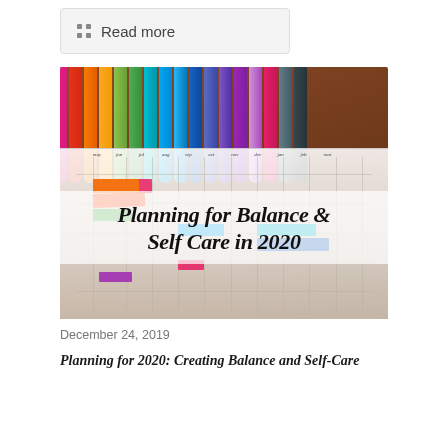[Figure (screenshot): A 'Read more' button with a grid icon on a light gray background]
[Figure (photo): Photo of colorful marker pens arranged on an open bullet journal planner spread showing a yearly tracker grid, with text overlay reading 'Planning for Balance & Self Care in 2020']
December 24, 2019
Planning for 2020: Creating Balance and Self-Care